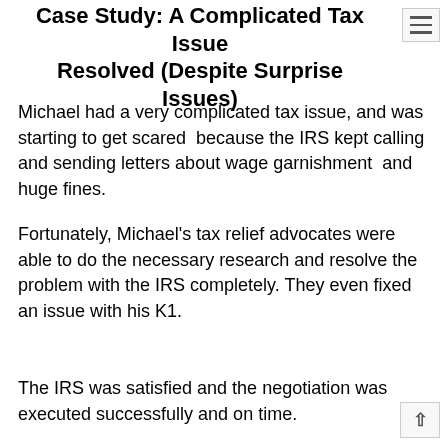Case Study: A Complicated Tax Issue Resolved (Despite Surprise Issues)
Michael had a very complicated tax issue, and was starting to get scared  because the IRS kept calling and sending letters about wage garnishment  and huge fines.
Fortunately, Michael’s tax relief advocates were able to do the necessary research and resolve the problem with the IRS completely. They even fixed an issue with his K1.
The IRS was satisfied and the negotiation was executed successfully and on time.